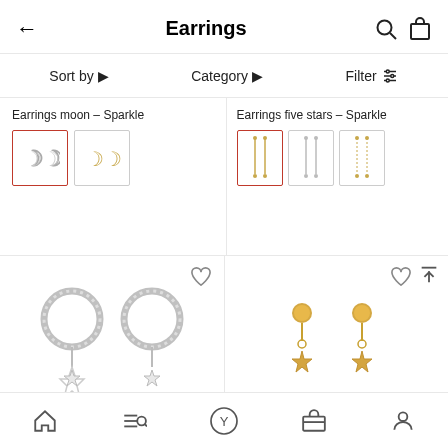Earrings
Sort by ▶   Category ▶   Filter
Earrings moon – Sparkle
[Figure (photo): Two color swatches for Earrings moon - Sparkle: silver crescent moon earrings (selected, red border) and gold crescent moon earrings]
Earrings five stars – Sparkle
[Figure (photo): Three color swatches for Earrings five stars - Sparkle: gold drop earrings (selected, red border), silver drop earrings, gold chain drop earrings]
[Figure (photo): Silver hoop earrings with crystal four-pointed star charms, with heart/wishlist icon]
[Figure (photo): Gold star dangle stud earrings with crystal detail, with heart/wishlist icon and scroll-to-top icon]
Home   Search   Y   Bag   Account